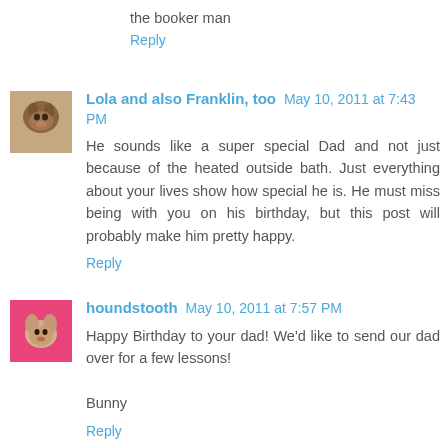the booker man
Reply
Lola and also Franklin, too May 10, 2011 at 7:43 PM
He sounds like a super special Dad and not just because of the heated outside bath. Just everything about your lives show how special he is. He must miss being with you on his birthday, but this post will probably make him pretty happy.
Reply
houndstooth May 10, 2011 at 7:57 PM
Happy Birthday to your dad! We'd like to send our dad over for a few lessons!

Bunny
Reply